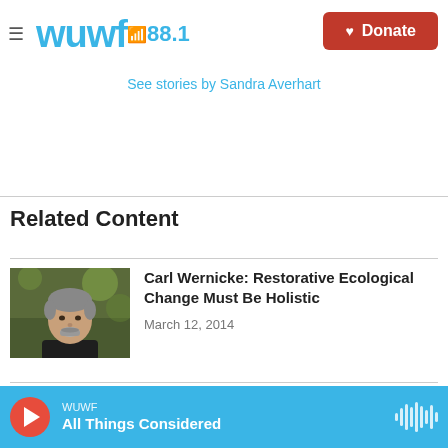wuwf 88.1 — Donate
See stories by Sandra Averhart
Related Content
[Figure (photo): Headshot of Carl Wernicke, older man with grey hair and beard, wearing dark shirt, outdoors.]
Carl Wernicke: Restorative Ecological Change Must Be Holistic
March 12, 2014
WUWF — All Things Considered (audio player)